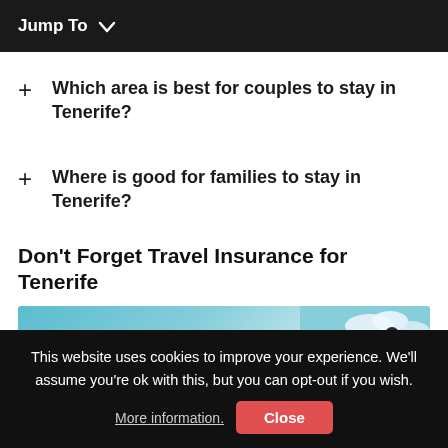Jump To
Which area is best for couples to stay in Tenerife?
Where is good for families to stay in Tenerife?
Don't Forget Travel Insurance for Tenerife
[Figure (illustration): Travel insurance advertisement banner with text 'STAY SAFE STAY EPIC!' in orange italic font on a light blue/teal background. A hiker with a red backpack is visible on the right side against a mountain and sky background.]
This website uses cookies to improve your experience. We'll assume you're ok with this, but you can opt-out if you wish. More information. Close